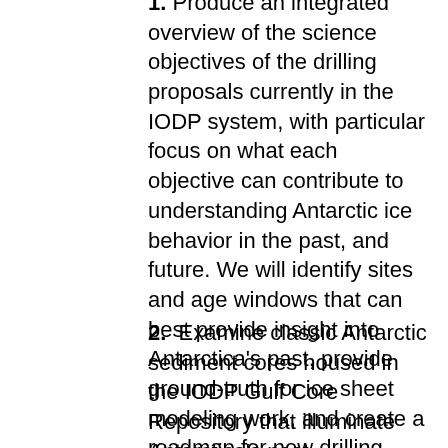1. Produce an integrated overview of the science objectives of the drilling proposals currently in the IODP system, with particular focus on what each objective can contribute to understanding Antarctic ice behavior in the past, and future. We will identify sites and age windows that can best provide insight into Antarctica's past, provide ground-truth for ice sheet modeling work, and create a roadmap for new drilling proposals.
2. Examine classic Antarctic sediment cores housed in the IODP Gulf Core Repository that illuminate Antarctica's past environments and marine glaciological history. This will